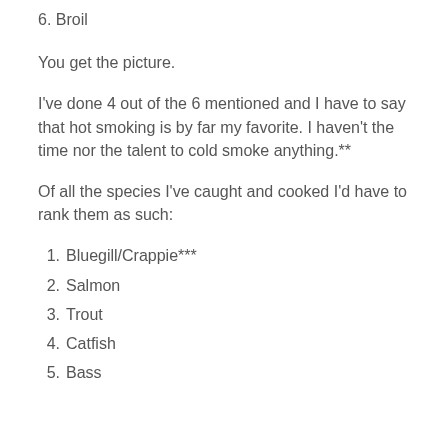6. Broil
You get the picture.
I've done 4 out of the 6 mentioned and I have to say that hot smoking is by far my favorite. I haven't the time nor the talent to cold smoke anything.**
Of all the species I've caught and cooked I'd have to rank them as such:
1. Bluegill/Crappie***
2. Salmon
3. Trout
4. Catfish
5. Bass